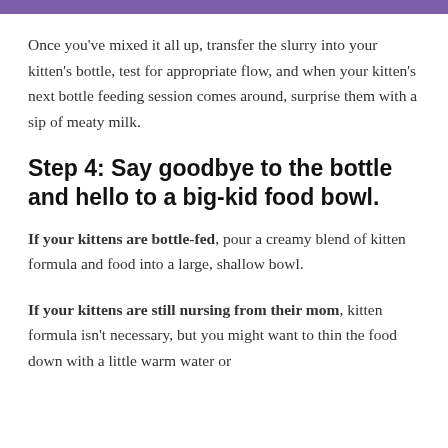Once you've mixed it all up, transfer the slurry into your kitten's bottle, test for appropriate flow, and when your kitten's next bottle feeding session comes around, surprise them with a sip of meaty milk.
Step 4: Say goodbye to the bottle and hello to a big-kid food bowl.
If your kittens are bottle-fed, pour a creamy blend of kitten formula and food into a large, shallow bowl.
If your kittens are still nursing from their mom, kitten formula isn't necessary, but you might want to thin the food down with a little warm water or